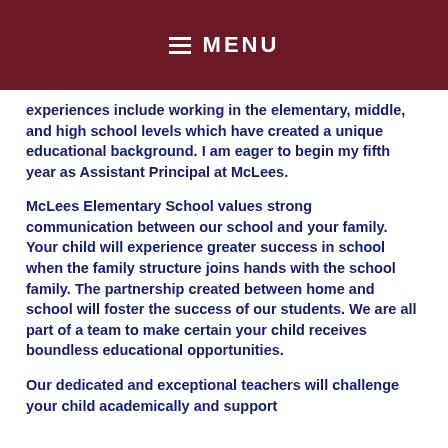MENU
experiences include working in the elementary, middle, and high school levels which have created a unique educational background.  I am eager to begin my fifth year as Assistant Principal at McLees.
McLees Elementary School values strong communication between our school and your family.  Your child will experience greater success in school when the family structure joins hands with the school family.  The partnership created between home and school will foster the success of our students. We are all part of a team to make certain your child receives boundless educational opportunities.
Our dedicated and exceptional teachers will challenge your child academically and support...